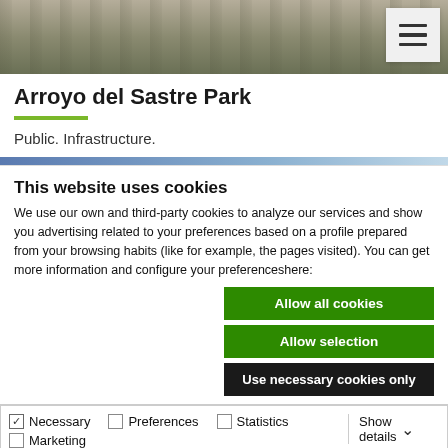[Figure (photo): Aerial or wide-angle photo of Arroyo del Sastre Park showing paths and trees]
Arroyo del Sastre Park
Public. Infrastructure.
This website uses cookies
We use our own and third-party cookies to analyze our services and show you advertising related to your preferences based on a profile prepared from your browsing habits (like for example, the pages visited). You can get more information and configure your preferenceshere:
Allow all cookies
Allow selection
Use necessary cookies only
Necessary  Preferences  Statistics  Marketing  Show details